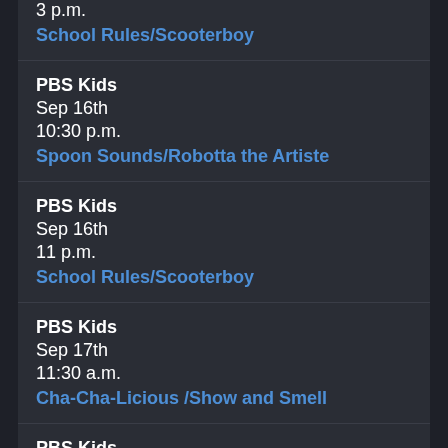3 p.m.
School Rules/Scooterboy
PBS Kids
Sep 16th
10:30 p.m.
Spoon Sounds/Robotta the Artiste
PBS Kids
Sep 16th
11 p.m.
School Rules/Scooterboy
PBS Kids
Sep 17th
11:30 a.m.
Cha-Cha-Licious /Show and Smell
PBS Kids
Sep 18th
11:30 a.m.
Gardon Gnome Party/That Unicorn Feeling